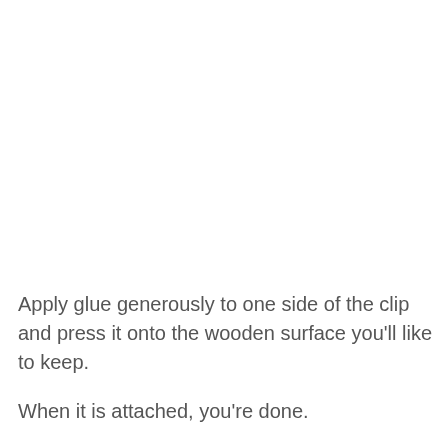Apply glue generously to one side of the clip and press it onto the wooden surface you'll like to keep.

When it is attached, you're done.